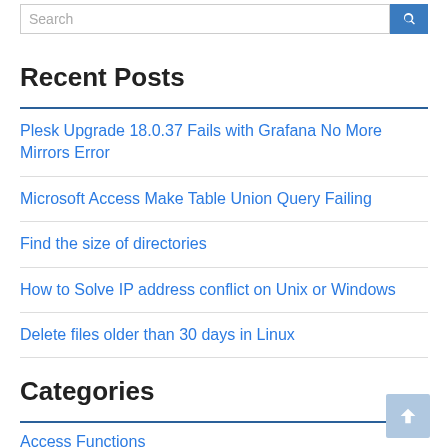Recent Posts
Plesk Upgrade 18.0.37 Fails with Grafana No More Mirrors Error
Microsoft Access Make Table Union Query Failing
Find the size of directories
How to Solve IP address conflict on Unix or Windows
Delete files older than 30 days in Linux
Categories
Access Functions
Affiliate Marketing